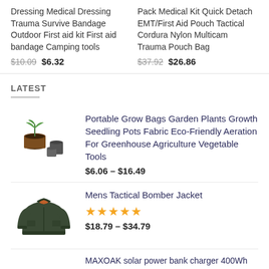Dressing Medical Dressing Trauma Survive Bandage Outdoor First aid kit First aid bandage Camping tools
$10.09  $6.32
Pack Medical Kit Quick Detach EMT/First Aid Pouch Tactical Cordura Nylon Multicam Trauma Pouch Bag
$37.92  $26.86
LATEST
Portable Grow Bags Garden Plants Growth Seedling Pots Fabric Eco-Friendly Aeration For Greenhouse Agriculture Vegetable Tools
$6.06 – $16.49
Mens Tactical Bomber Jacket
★★★★★
$18.79 – $34.79
MAXOAK solar power bank charger 400Wh powerbank solar Power Source Generator li-ion